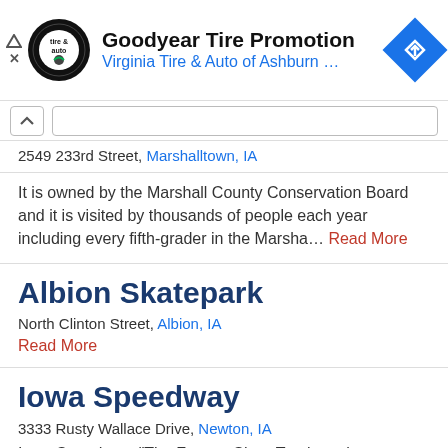[Figure (screenshot): Goodyear Tire Promotion ad banner with Virginia Tire & Auto of Ashburn logo and blue navigation arrow icon]
2549 233rd Street, Marshalltown, IA
It is owned by the Marshall County Conservation Board and it is visited by thousands of people each year including every fifth-grader in the Marsha... Read More
Albion Skatepark
North Clinton Street, Albion, IA
Read More
Iowa Speedway
3333 Rusty Wallace Drive, Newton, IA
Iowa Speedway, "The Fastest Short Track on the